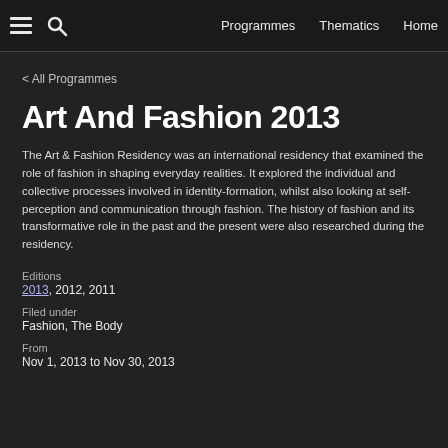Programmes   Thematics   Home
< All Programmes
Art And Fashion 2013
The Art & Fashion Residency was an international residency that examined the role of fashion in shaping everyday realities. It explored the individual and collective processes involved in identity-formation, whilst also looking at self-perception and communication through fashion. The history of fashion and its transformative role in the past and the present were also researched during the residency.
Editions
2013, 2012, 2011
Filed under
Fashion, The Body
From
Nov 1, 2013 to Nov 30, 2013